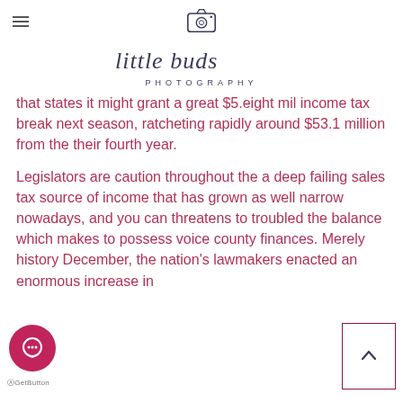little buds PHOTOGRAPHY
that states it might grant a great $5.eight mil income tax break next season, ratcheting rapidly around $53.1 million from the their fourth year.
Legislators are caution throughout the a deep failing sales tax source of income that has grown as well narrow nowadays, and you can threatens to troubled the balance which makes to possess voice county finances. Merely history December, the nation's lawmakers enacted an enormous increase in